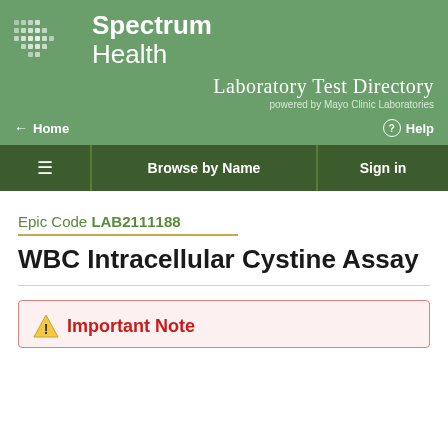[Figure (logo): Spectrum Health logo with diamond grid pattern and white text]
Laboratory Test Directory
powered by Mayo Clinic Laboratories
Home
Help
Browse by Name
Sign in
Epic Code LAB2111188
WBC Intracellular Cystine Assay
Important Note